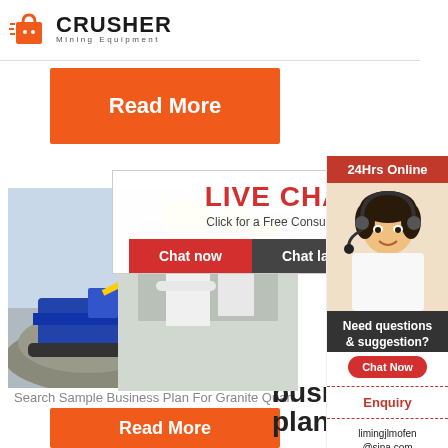[Figure (logo): Crusher Mining Equipment logo with red shopping bag icon and bold text]
Read More
[Figure (photo): Construction/mining site with machinery and workers in hard hats; Live Chat popup overlay with Chat now and Chat later buttons]
LIVE CHAT
Click for a Free Consultation
Chat now  Chat later
busm
plans
Search Sample Business Plan For Granite Quarr
Read More
[Figure (infographic): Right sidebar with 24Hrs Online header, agent photo with headset, Need questions & suggestion? panel, Chat Now button, Enquiry section, limingjlmofen@sina.com email]